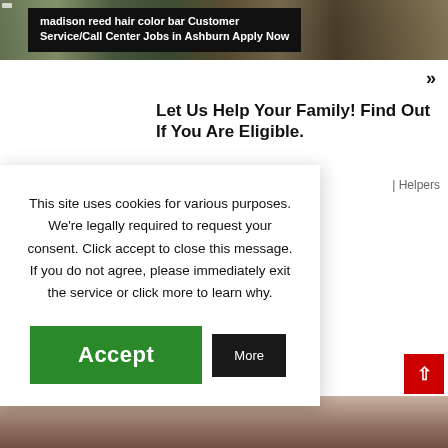[Figure (photo): Top banner showing a hair color bar setting with dark overlay and job advertisement text]
madison reed hair color bar Customer Service/Call Center Jobs in Ashburn Apply Now
Let Us Help Your Family! Find Out If You Are Eligible.
| Helpers
ey's Twins Is Mom
This site uses cookies for various purposes. We're legally required to request your consent. Click accept to close this message. If you do not agree, please immediately exit the service or click more to learn why.
Accept
More
[Figure (photo): Partial bottom image strip, brownish tones]